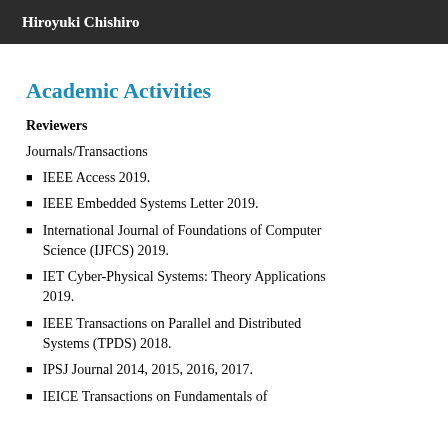Hiroyuki Chishiro
Academic Activities
Reviewers
Journals/Transactions
IEEE Access 2019.
IEEE Embedded Systems Letter 2019.
International Journal of Foundations of Computer Science (IJFCS) 2019.
IET Cyber-Physical Systems: Theory Applications 2019.
IEEE Transactions on Parallel and Distributed Systems (TPDS) 2018.
IPSJ Journal 2014, 2015, 2016, 2017.
IEICE Transactions on Fundamentals of